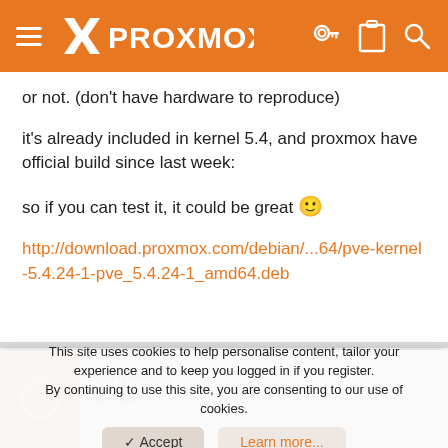PROXMOX
or not. (don't have hardware to reproduce)
it's already included in kernel 5.4, and proxmox have official build since last week:
so if you can test it, it could be great 🙂
http://download.proxmox.com/debian/...64/pve-kernel-5.4.24-1-pve_5.4.24-1_amd64.deb
n1nj4888
Member
This site uses cookies to help personalise content, tailor your experience and to keep you logged in if you register.
By continuing to use this site, you are consenting to our use of cookies.